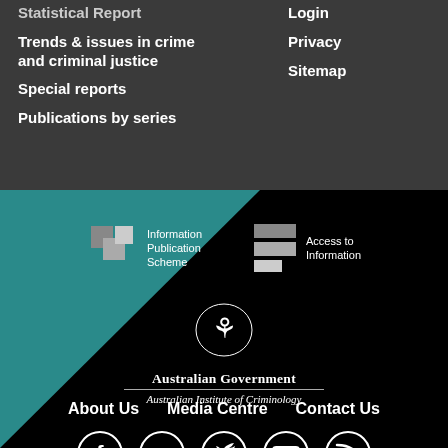Statistical Report
Trends & issues in crime and criminal justice
Special reports
Publications by series
Login
Privacy
Sitemap
[Figure (logo): Information Publication Scheme badge with stacked grey squares icon]
[Figure (logo): Access to Information badge with stacked grey rectangles icon]
[Figure (logo): Australian Government / Australian Institute of Criminology crest and text]
About Us
Media Centre
Contact Us
[Figure (illustration): Social media icons: Facebook, Flickr, Twitter, YouTube, RSS]